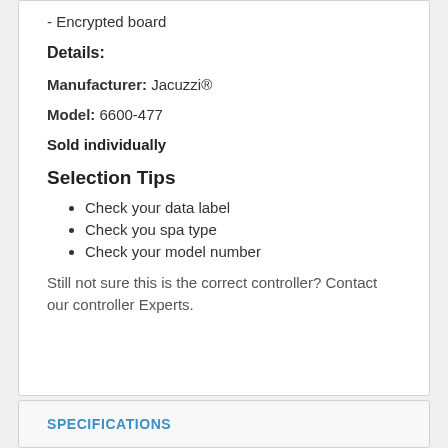- Encrypted board
Details:
Manufacturer: Jacuzzi®
Model: 6600-477
Sold individually
Selection Tips
Check your data label
Check you spa type
Check your model number
Still not sure this is the correct controller? Contact our controller Experts.
SPECIFICATIONS